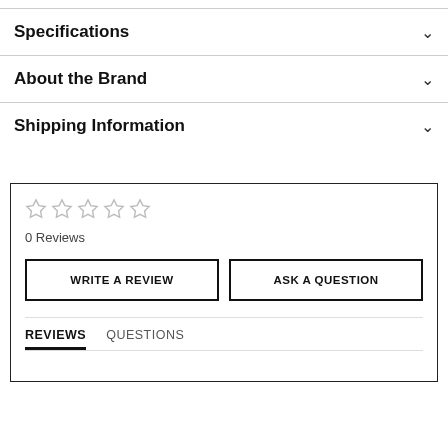Specifications
About the Brand
Shipping Information
0 Reviews
WRITE A REVIEW
ASK A QUESTION
REVIEWS   QUESTIONS